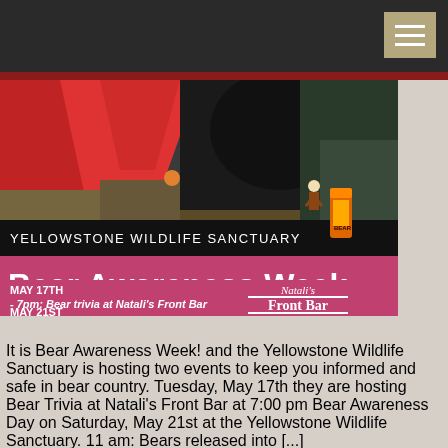[Figure (photo): Bear Awareness Week event promotional banner from Yellowstone Wildlife Sanctuary. Shows a photo of a red tent/tarp with a bear in the background, followed by an event banner with black and pink sections. Text reads: YELLOWSTONE WILDLIFE SANCTUARY, Bear Awareness Week, MAY 17TH - 7pm: Bear trivia at Natali's Front Bar, MAY 21ST. Natali's Front Bar Red Lodge, MT logo on the right.]
It is Bear Awareness Week! and the Yellowstone Wildlife Sanctuary is hosting two events to keep you informed and safe in bear country. Tuesday, May 17th they are hosting Bear Trivia at Natali’s Front Bar at 7:00 pm Bear Awareness Day on Saturday, May 21st at the Yellowstone Wildlife Sanctuary. 11 am: Bears released into [...]